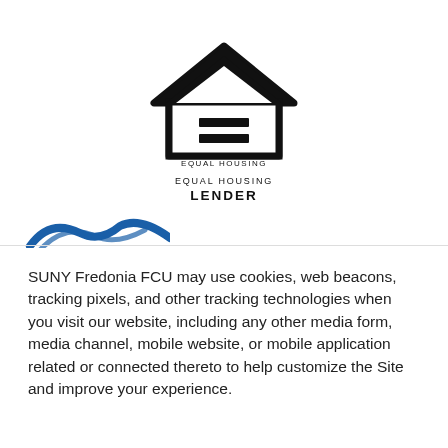[Figure (logo): Equal Housing Lender logo: house outline with equals sign inside, text reading EQUAL HOUSING LENDER below]
[Figure (logo): Partial blue logo (cropped at bottom of upper section)]
SUNY Fredonia FCU may use cookies, web beacons, tracking pixels, and other tracking technologies when you visit our website, including any other media form, media channel, mobile website, or mobile application related or connected thereto to help customize the Site and improve your experience.
Accept All